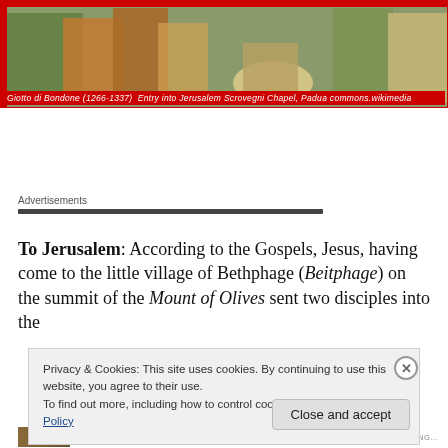[Figure (photo): Medieval painting of Entry into Jerusalem by Giotto di Bondone, showing figures in robes with one kneeling, set against a red border.]
Giotto di Bondone (1266-1337)  Entry into Jerusalem Scrovegni Chapel, Padua commons.wikimedia
Advertisements
To Jerusalem: According to the Gospels, Jesus, having come to the little village of Bethphage (Beitphage) on the summit of the Mount of Olives sent two disciples into the
Privacy & Cookies: This site uses cookies. By continuing to use this website, you agree to their use.
To find out more, including how to control cookies, see here: Cookie Policy